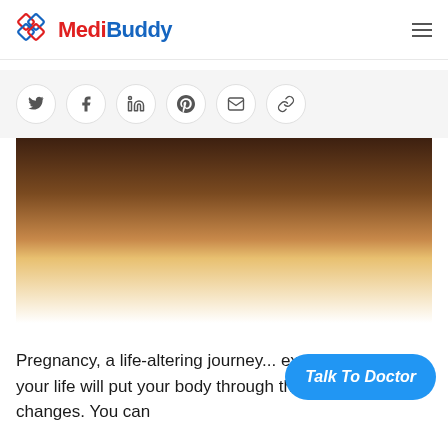MediBuddy
[Figure (illustration): Six social sharing icon buttons in circles: Twitter, Facebook, LinkedIn, Pinterest, Email, Link]
[Figure (photo): Hero image with warm brown-to-golden gradient sunset tones, fading to white at the bottom]
Pregnancy, a life-altering journey... exciting phase of your life will put your body through the most incredible changes. You can
[Figure (other): Talk To Doctor blue pill-shaped button]